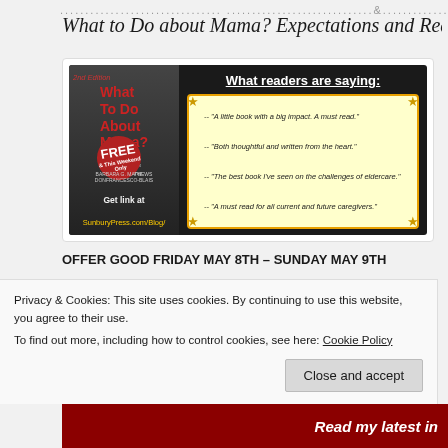............................................................................................................
What to Do about Mama? Expectations and Realities of C...
[Figure (illustration): Book promotion image for 'What To Do About Mama?' showing book cover, reader quotes in a yellow box, and FREE badge. Text: 'What readers are saying:' with quotes about the book. Bottom reads 'Get link at SunburyPress.com/Blog/']
OFFER GOOD FRIDAY MAY 8TH – SUNDAY MAY 9TH
First, we want to thank you for supporting... What to Do about Mama?... appreciation... free to download... this upcoming... WTDAM... WANT, it is... even if you... or that you... just want to Do about...
Privacy & Cookies: This site uses cookies. By continuing to use this website, you agree to their use.
To find out more, including how to control cookies, see here: Cookie Policy
Close and accept
Read my latest in